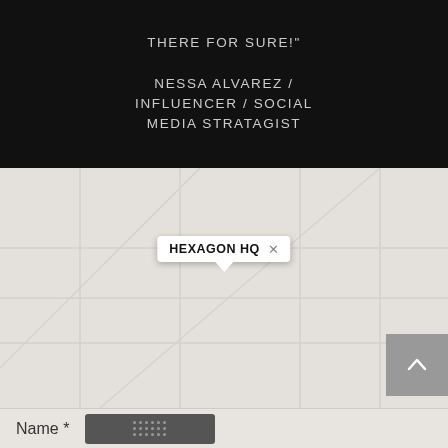THERE FOR SURE!"
NESSA ALVAREZ / INFLUENCER / SOCIAL MEDIA STRATAGIST
[Figure (map): A light grey map with a popup tooltip reading 'HEXAGON HQ' with an X close button and a speech bubble pointer. A grey scroll-to-top button with a chevron up arrow is in the bottom-right corner.]
Name *